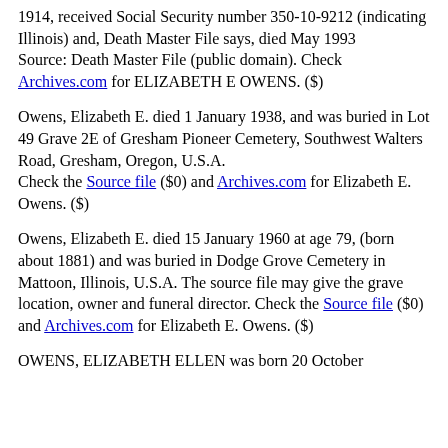1914, received Social Security number 350-10-9212 (indicating Illinois) and, Death Master File says, died May 1993
Source: Death Master File (public domain). Check Archives.com for ELIZABETH E OWENS. ($)
Owens, Elizabeth E. died 1 January 1938, and was buried in Lot 49 Grave 2E of Gresham Pioneer Cemetery, Southwest Walters Road, Gresham, Oregon, U.S.A.
Check the Source file ($0) and Archives.com for Elizabeth E. Owens. ($)
Owens, Elizabeth E. died 15 January 1960 at age 79, (born about 1881) and was buried in Dodge Grove Cemetery in Mattoon, Illinois, U.S.A. The source file may give the grave location, owner and funeral director. Check the Source file ($0) and Archives.com for Elizabeth E. Owens. ($)
OWENS, ELIZABETH ELLEN was born 20 October